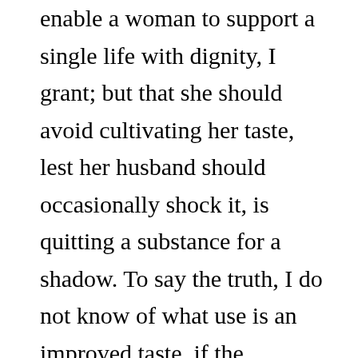enable a woman to support a single life with dignity, I grant; but that she should avoid cultivating her taste, lest her husband should occasionally shock it, is quitting a substance for a shadow. To say the truth, I do not know of what use is an improved taste, if the individual be not rendered more independent of the casualties of life; if new sources of enjoyment, only dependent on the solitary operations of the mind, are not opened. People of taste, married or single, without distinction, will ever be disgusted by various